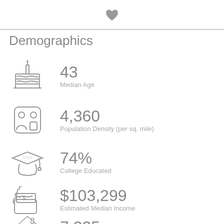[Figure (illustration): Heart icon at top center]
Demographics
[Figure (illustration): Birthday cake icon]
43
Median Age
[Figure (illustration): People/population icon]
4,360
Population Density (per sq. mile)
[Figure (illustration): Graduation cap icon]
74%
College Educated
[Figure (illustration): Wallet with dollar sign icon]
$103,299
Estimated Median Income
[Figure (illustration): House icon (partially visible)]
7,335